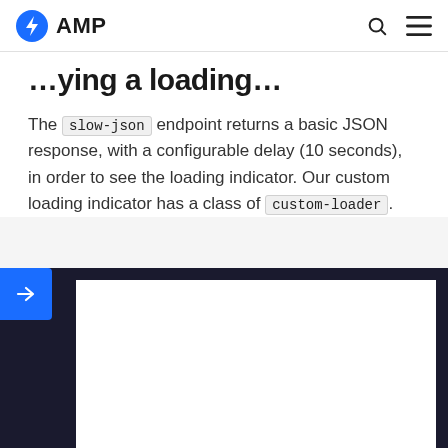AMP
…ying a loading…
The slow-json endpoint returns a basic JSON response, with a configurable delay (10 seconds), in order to see the loading indicator. Our custom loading indicator has a class of custom-loader.
[Figure (screenshot): A demo iframe embedded in a dark-bordered frame showing a white content area, with a blue arrow button on the left side.]